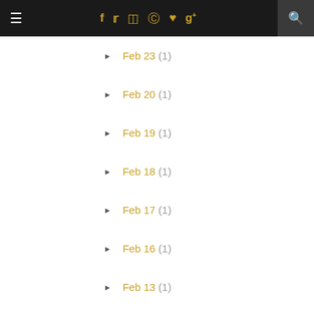Navigation bar with menu, social icons, and search
► Feb 23 (1)
► Feb 20 (1)
► Feb 19 (1)
► Feb 18 (1)
► Feb 17 (1)
► Feb 16 (1)
► Feb 13 (1)
► Feb 12 (1)
► Feb 10 (1)
► Feb 09 (1)
► Feb 08 (1)
► Feb 06 (1)
► Feb 01 (1)